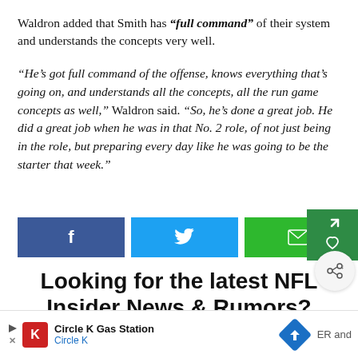Waldron added that Smith has “full command” of their system and understands the concepts very well.
“He’s got full command of the offense, knows everything that’s going on, and understands all the concepts, all the run game concepts as well,” Waldron said. “So, he’s done a great job. He did a great job when he was in that No. 2 role, of not just being in the role, but preparing every day like he was going to be the starter that week.”
[Figure (other): Social share buttons: Facebook (blue), Twitter (light blue), Email (green), and overlay share/save icons]
Looking for the latest NFL Insider News & Rumors?
[Figure (other): Advertisement bar: Circle K Gas Station ad with logo, navigation arrow icon, and partial text 'ER and']